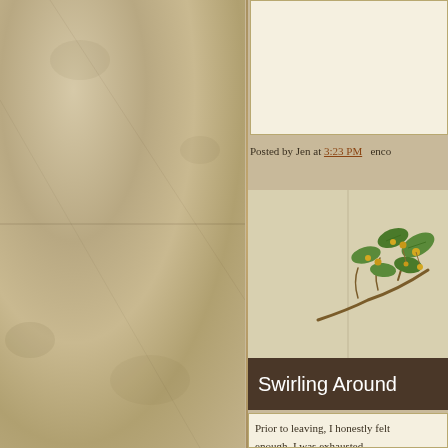[Figure (illustration): Aged parchment/paper textured background on the left sidebar area of a blog page]
Btw...Dave and I promi
[Figure (illustration): Decorative botanical illustration of a branch with green leaves and small yellow flowers in the upper right area]
Posted by Jen at 3:23 PM   enco
Swirling Around
Prior to leaving, I honestly felt enough. I was exhausted...